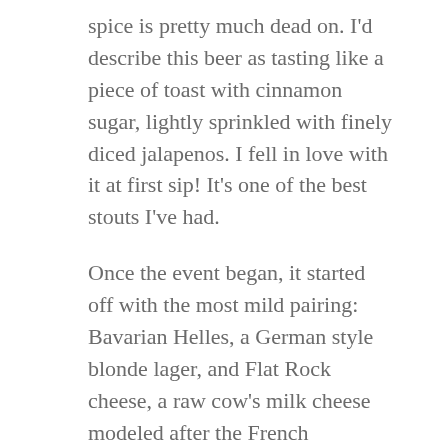spice is pretty much dead on.  I'd describe this beer as tasting like a piece of toast with cinnamon sugar, lightly sprinkled with finely diced jalapenos.  I fell in love with it at first sip!  It's one of the best stouts I've had.
Once the event began, it started off with the most mild pairing:  Bavarian Helles, a German style blonde lager, and Flat Rock cheese, a raw cow's milk cheese modeled after the French mountain cheese Abondance.  While I'm not a fan of lagers, the cheese really brought out the flavor of this light-tasting beer.  The Flat Rock was my favorite cheese of all four.
Next came Copper Kettle's American Amber and Toma Mozzarona Rosa cheese.  As with lagers, it...